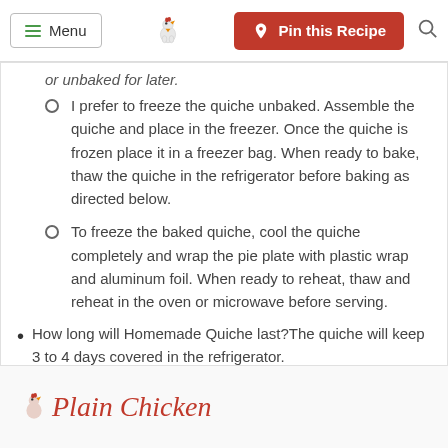Menu | Pin this Recipe
or unbaked for later.
I prefer to freeze the quiche unbaked. Assemble the quiche and place in the freezer. Once the quiche is frozen place it in a freezer bag. When ready to bake, thaw the quiche in the refrigerator before baking as directed below.
To freeze the baked quiche, cool the quiche completely and wrap the pie plate with plastic wrap and aluminum foil. When ready to reheat, thaw and reheat in the oven or microwave before serving.
How long will Homemade Quiche last?The quiche will keep 3 to 4 days covered in the refrigerator.
Plain Chicken